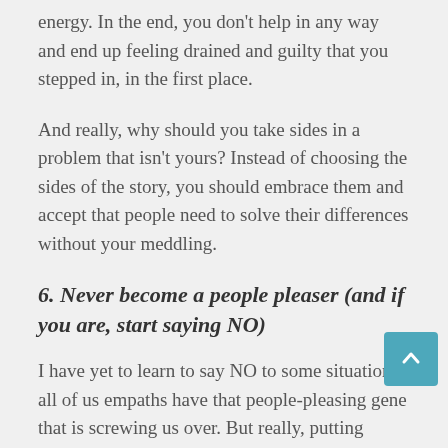energy. In the end, you don't help in any way and end up feeling drained and guilty that you stepped in, in the first place.
And really, why should you take sides in a problem that isn't yours? Instead of choosing the sides of the story, you should embrace them and accept that people need to solve their differences without your meddling.
6. Never become a people pleaser (and if you are, start saying NO)
I have yet to learn to say NO to some situations; all of us empaths have that people-pleasing gene that is screwing us over. But really, putting others in front of you may feel rewarding and selfless,